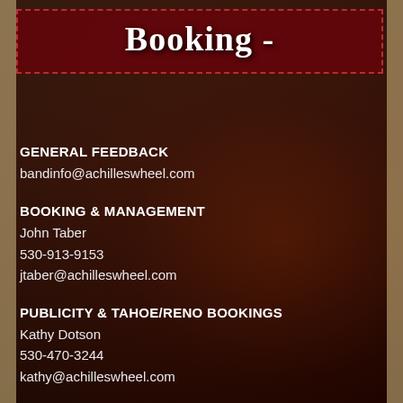Booking -
GENERAL FEEDBACK
bandinfo@achilleswheel.com
BOOKING & MANAGEMENT
John Taber
530-913-9153
jtaber@achilleswheel.com
PUBLICITY & TAHOE/RENO BOOKINGS
Kathy Dotson
530-470-3244
kathy@achilleswheel.com
PUBLICITY, EUROPE
Peter Holmstedt - Hemifran
www.hemifran.com